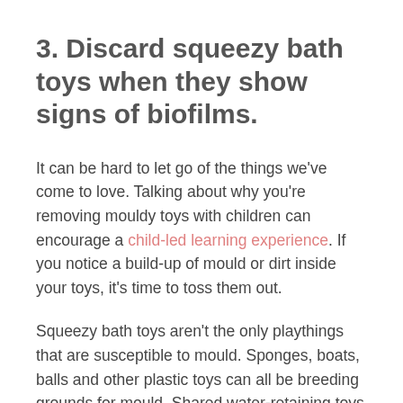3. Discard squeezy bath toys when they show signs of biofilms.
It can be hard to let go of the things we've come to love. Talking about why you're removing mouldy toys with children can encourage a child-led learning experience. If you notice a build-up of mould or dirt inside your toys, it's time to toss them out.
Squeezy bath toys aren't the only playthings that are susceptible to mould. Sponges, boats, balls and other plastic toys can all be breeding grounds for mould. Shared water-retaining toys can also spread bacteria, which can be a serious issue if a child is immunocompromised.